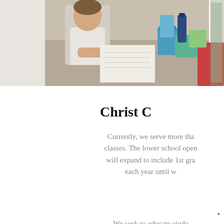[Figure (photo): A child sitting at a desk doing schoolwork, with colorful school supply containers and materials on the table. Photo is cropped showing the left portion of the image.]
Christ C
Currently, we serve more tha classes. The lower school open will expand to include 1st gra each year until w
We seek to educate stude